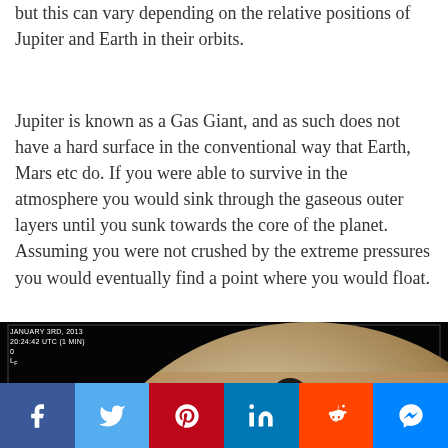but this can vary depending on the relative positions of Jupiter and Earth in their orbits.
Jupiter is known as a Gas Giant, and as such does not have a hard surface in the conventional way that Earth, Mars etc do. If you were able to survive in the atmosphere you would sink through the gaseous outer layers until you sunk towards the core of the planet. Assuming you were not crushed by the extreme pressures you would eventually find a point where you would float.
[Figure (photo): Dark space image of Jupiter with a moon visible to the left and a dark spot (shadow) on Jupiter's surface. The image has an overlay timestamp reading JANUARY 3rd, 2013, 20:24:42 UTC (1 min). The planet shows distinctive cloud bands in brown and white tones.]
Social sharing bar with Facebook, Twitter, Pinterest, LinkedIn, Reddit, and Messenger buttons